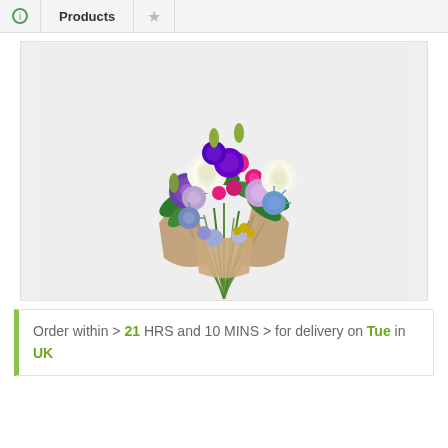Products
[Figure (photo): A colorful flower bouquet wrapped in brown paper, featuring purple lisianthus, white roses, pink flowers, blue thistle, and other mixed flowers and greenery.]
Order within > 21 HRS and 10 MINS > for delivery on Tue in UK